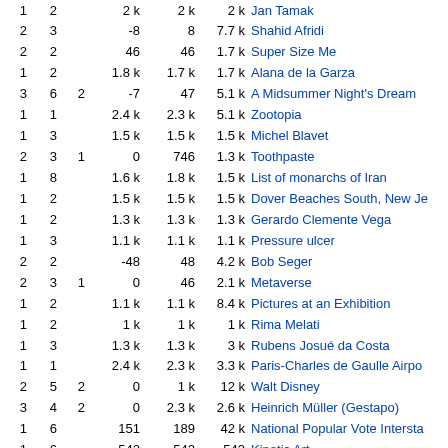| col1 | col2 | col3 | col4 | col5 | col6 | name |
| --- | --- | --- | --- | --- | --- | --- |
| 1 | 2 |  | 2 k | 2 k | 2 k | Jan Tamak |
| 2 | 3 |  | -8 | 8 | 7.7 k | Shahid Afridi |
| 2 | 2 |  | 46 | 46 | 1.7 k | Super Size Me |
| 1 | 2 |  | 1.8 k | 1.7 k | 1.7 k | Alana de la Garza |
| 3 | 6 | 2 | -7 | 47 | 5.1 k | A Midsummer Night's Dream |
| 1 | 1 |  | 2.4 k | 2.3 k | 5.1 k | Zootopia |
| 1 | 3 |  | 1.5 k | 1.5 k | 1.5 k | Michel Blavet |
| 2 | 3 | 1 | 0 | 746 | 1.3 k | Toothpaste |
| 1 | 8 |  | 1.6 k | 1.8 k | 1.5 k | List of monarchs of Iran |
| 1 | 2 |  | 1.5 k | 1.5 k | 1.5 k | Dover Beaches South, New Je... |
| 1 | 2 |  | 1.3 k | 1.3 k | 1.3 k | Gerardo Clemente Vega |
| 1 | 3 |  | 1.1 k | 1.1 k | 1.1 k | Pressure ulcer |
| 2 | 2 |  | -48 | 48 | 4.2 k | Bob Seger |
| 2 | 3 | 1 | 0 | 46 | 2.1 k | Metaverse |
| 1 | 2 |  | 1.1 k | 1.1 k | 8.4 k | Pictures at an Exhibition |
| 1 | 2 |  | 1 k | 1 k | 1 k | Rima Melati |
| 1 | 3 |  | 1.3 k | 1.3 k | 3 k | Rubens Josué da Costa |
| 1 | 1 |  | 2.4 k | 2.3 k | 3.3 k | Paris-Charles de Gaulle Airpor... |
| 2 | 5 | 2 | 0 | 1 k | 12 k | Walt Disney |
| 3 | 4 | 2 | 0 | 2.3 k | 2.6 k | Heinrich Müller (Gestapo) |
| 1 | 6 |  | 151 | 189 | 42 k | National Popular Vote Intersta... |
| 1 | 6 |  | 542 | 542 | 542 | Kinetic Art |
| 3 | 4 | 2 | 0 | 34 | 8.8 k | Australian gold rush |
| 2 | 2 | 1 | 0 | 952 | 7.6 k | Moth |
| 2 | 9 | 7 | 0 | 1.3 k | 1.9 k | Get in Where You Fit In |
| 1 | 1 |  | 2.1 k | 2.1 k | 2.1 k | Couldn't Get It Right |
| 1 | 1 |  | 1.4 k | 1.3 k | 1.3 k | Sphaenorhynchus surdus |
| 1 | 2 |  | 1.1 k | 1.1 k | 2.7 k | ZooMoo |
| 2 | 2 | 1 | 0 | 106 | 6.3 k | Auckland |
| 2 | 3 | 1 | -1 | 15 | 9.9 k | Roblox |
| 2 | 3 | 2 | 21 | 229 | 3.9 k | Yawmiat Hamody Saif Al Jame... |